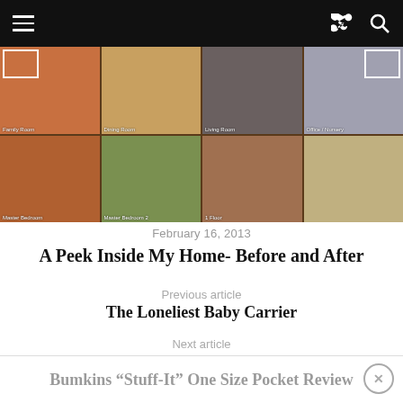[Figure (photo): Navigation bar with hamburger menu, share icon, and search icon on dark background]
[Figure (photo): Grid of 8 home interior photos showing rooms before and after renovation, including living room, bedroom, bathroom and other rooms]
February 16, 2013
A Peek Inside My Home- Before and After
Previous article
The Loneliest Baby Carrier
Next article
Bumkins “Stuff-It” One Size Pocket Review